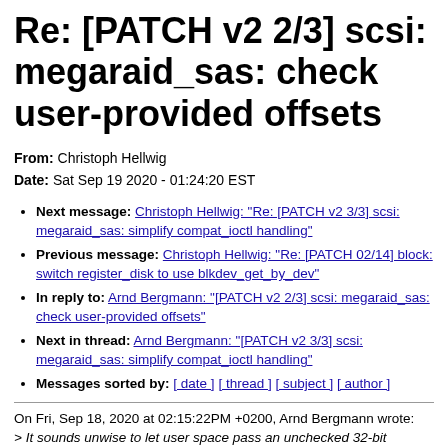Re: [PATCH v2 2/3] scsi: megaraid_sas: check user-provided offsets
From: Christoph Hellwig
Date: Sat Sep 19 2020 - 01:24:20 EST
Next message: Christoph Hellwig: "Re: [PATCH v2 3/3] scsi: megaraid_sas: simplify compat_ioctl handling"
Previous message: Christoph Hellwig: "Re: [PATCH 02/14] block: switch register_disk to use blkdev_get_by_dev"
In reply to: Arnd Bergmann: "[PATCH v2 2/3] scsi: megaraid_sas: check user-provided offsets"
Next in thread: Arnd Bergmann: "[PATCH v2 3/3] scsi: megaraid_sas: simplify compat_ioctl handling"
Messages sorted by: [ date ] [ thread ] [ subject ] [ author ]
On Fri, Sep 18, 2020 at 02:15:22PM +0200, Arnd Bergmann wrote:
> It sounds unwise to let user space pass an unchecked 32-bit
> offset into a kernel structure in an ioctl. This is an unsigned